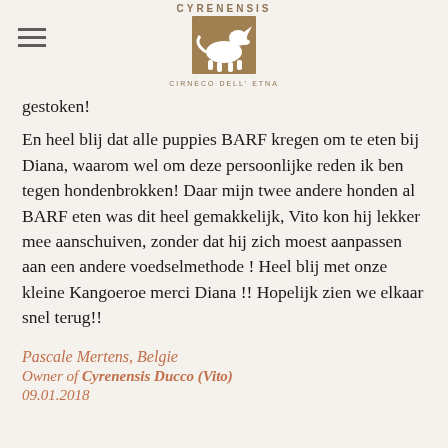CYRENENSIS CIRNECO DELL'ETNA
gestoken!
En heel blij dat alle puppies BARF kregen om te eten bij Diana, waarom wel om deze persoonlijke reden ik ben tegen hondenbrokken! Daar mijn twee andere honden al BARF eten was dit heel gemakkelijk, Vito kon hij lekker mee aanschuiven, zonder dat hij zich moest aanpassen aan een andere voedselmethode ! Heel blij met onze kleine Kangoeroe merci Diana !! Hopelijk zien we elkaar snel terug!!
Pascale Mertens, Belgie
Owner of Cyrenensis Ducco (Vito)
09.01.2018